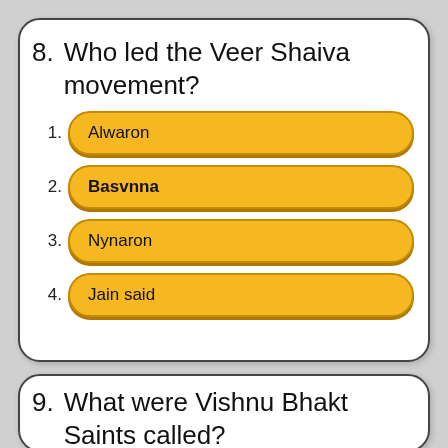8. Who led the Veer Shaiva movement?
1. Alwaron
2. Basvnna
3. Nynaron
4. Jain said
9. What were Vishnu Bhakt Saints called?